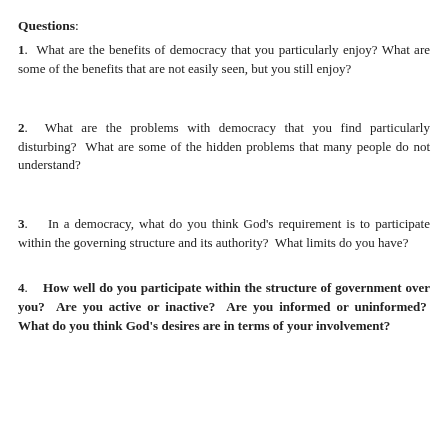Questions:
1.  What are the benefits of democracy that you particularly enjoy? What are some of the benefits that are not easily seen, but you still enjoy?
2.  What are the problems with democracy that you find particularly disturbing? What are some of the hidden problems that many people do not understand?
3.  In a democracy, what do you think God's requirement is to participate within the governing structure and its authority? What limits do you have?
4.  How well do you participate within the structure of government over you? Are you active or inactive? Are you informed or uninformed? What do you think God's desires are in terms of your involvement?